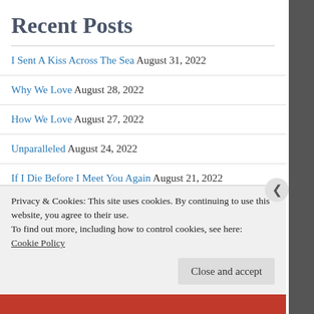Recent Posts
I Sent A Kiss Across The Sea August 31, 2022
Why We Love August 28, 2022
How We Love August 27, 2022
Unparalleled August 24, 2022
If I Die Before I Meet You Again August 21, 2022
Privacy & Cookies: This site uses cookies. By continuing to use this website, you agree to their use.
To find out more, including how to control cookies, see here:
Cookie Policy
Close and accept